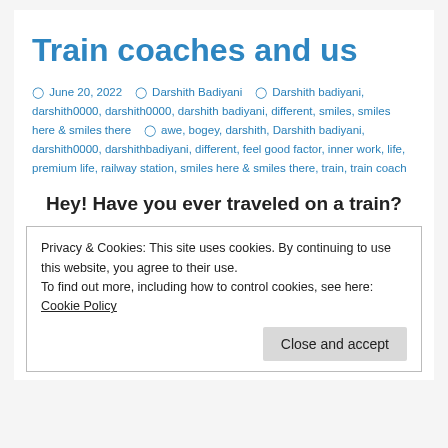Train coaches and us
🕐 June 20, 2022  👤 Darshith Badiyani  📁 Darshith badiyani, darshith0000, darshith0000, darshith badiyani, different, smiles, smiles here & smiles there  🏷 awe, bogey, darshith, Darshith badiyani, darshith0000, darshithbadiyani, different, feel good factor, inner work, life, premium life, railway station, smiles here & smiles there, train, train coach
Hey! Have you ever traveled on a train?
Privacy & Cookies: This site uses cookies. By continuing to use this website, you agree to their use.
To find out more, including how to control cookies, see here: Cookie Policy
Close and accept